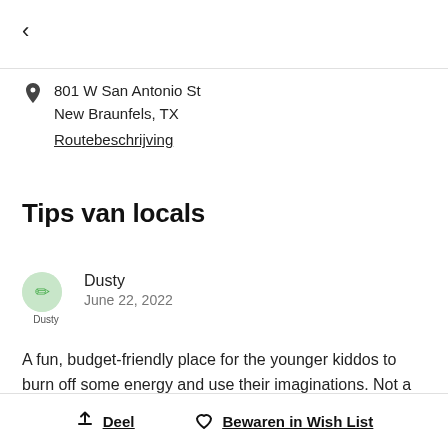<
801 W San Antonio St
New Braunfels, TX
Routebeschrijving
Tips van locals
Dusty
June 22, 2022
A fun, budget-friendly place for the younger kiddos to burn off some energy and use their imaginations. Not a place pre-teens and older would really enjoy
Deel   Bewaren in Wish List